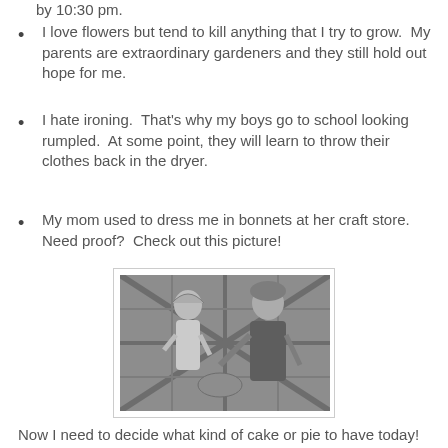by 10:30 pm.
I love flowers but tend to kill anything that I try to grow.  My parents are extraordinary gardeners and they still hold out hope for me.
I hate ironing.  That's why my boys go to school looking rumpled.  At some point, they will learn to throw their clothes back in the dryer.
My mom used to dress me in bonnets at her craft store.  Need proof?  Check out this picture!
[Figure (photo): Black and white photograph of a young child wearing a bonnet and traditional dress, standing next to a woman, with a quilt pattern in the background.]
Now I need to decide what kind of cake or pie to have today!